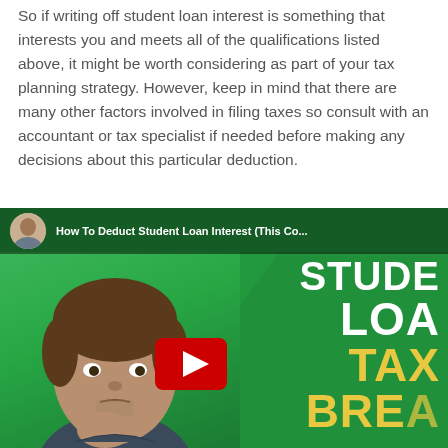So if writing off student loan interest is something that interests you and meets all of the qualifications listed above, it might be worth considering as part of your tax planning strategy. However, keep in mind that there are many other factors involved in filing taxes so consult with an accountant or tax specialist if needed before making any decisions about this particular deduction.
[Figure (screenshot): YouTube video thumbnail showing a man thinking with hand on chin, on a green background. Video title reads 'How To Deduct Student Loan Interest (This Co...' with large white text 'STUDENT LOAN' and yellow text 'TAX BREA' visible on the right side. A YouTube play button is centered on the right portion.]